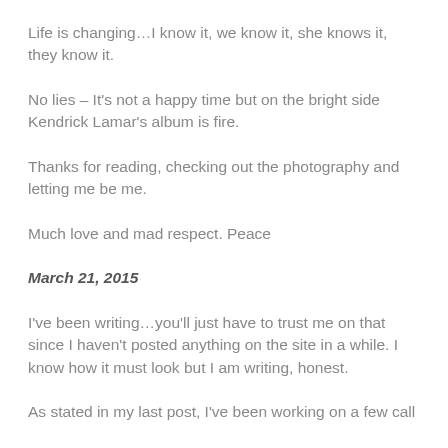Life is changing…I know it, we know it, she knows it, they know it.
No lies – It's not a happy time but on the bright side Kendrick Lamar's album is fire.
Thanks for reading, checking out the photography and letting me be me.
Much love and mad respect. Peace
March 21, 2015
I've been writing…you'll just have to trust me on that since I haven't posted anything on the site in a while. I know how it must look but I am writing, honest.
As stated in my last post, I've been working on a few call